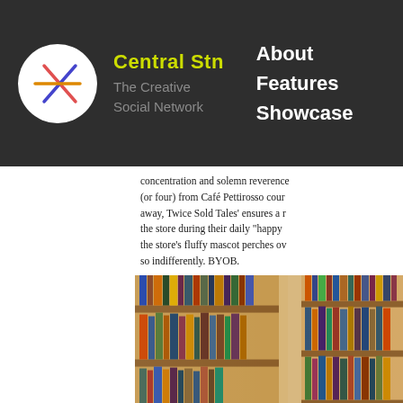Central Stn – The Creative Social Network | About | Features | Showcase
concentration and solemn reverence (or four) from Café Pettirosso cour away, Twice Sold Tales' ensures a r the store during their daily "happy the store's fluffy mascot perches ov so indifferently. BYOB.
[Figure (photo): Photograph of wooden bookshelves filled with books in a used bookstore, warm tones]